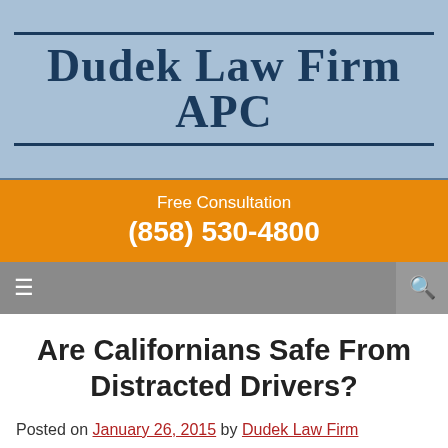[Figure (logo): Dudek Law Firm APC logo on light blue background with dark blue serif text]
Free Consultation
(858) 530-4800
☰ [navigation menu] 🔍 [search]
Are Californians Safe From Distracted Drivers?
Posted on January 26, 2015 by Dudek Law Firm
Distracted drivers are capable of killing and catastrophically injuring other motorists and pedestrians. Pedestrian and car accidents caused by distracted drivers have become a national prob... but there have also been cases in California that